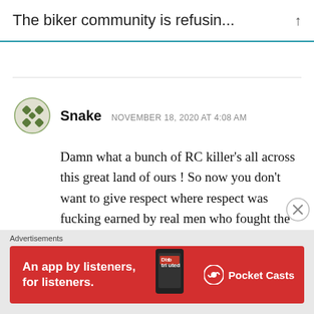The biker community is refusin...
Snake  NOVEMBER 18, 2020 AT 4:08 AM
Damn what a bunch of RC killer's all across this great land of ours ! So now you don't want to give respect where respect was fucking earned by real men who fought the fight for their rights to fly , while you bitches stayed
Advertisements
[Figure (infographic): Red Pocket Casts advertisement banner: 'An app by listeners, for listeners.' with Pocket Casts logo and app image]